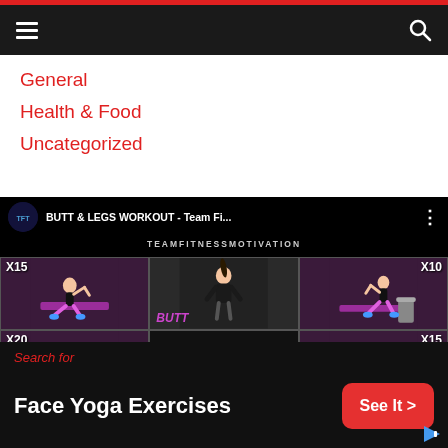Navigation bar with hamburger menu and search icon
General
Health & Food
Uncategorized
[Figure (screenshot): YouTube video thumbnail for 'BUTT & LEGS WORKOUT - Team Fi...' by TEAMFITNESSMOTIVATION showing workout exercise illustrations with reps X15, X10, X20, X15 and a red play button overlay]
Search for Face Yoga Exercises See It >